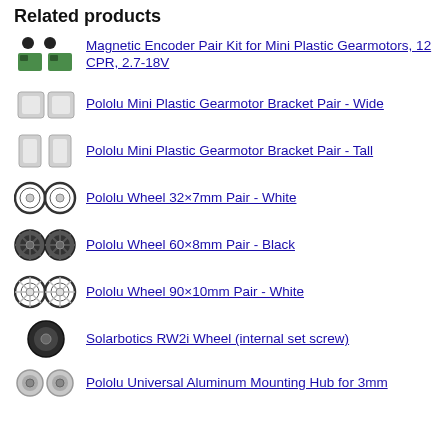Related products
Magnetic Encoder Pair Kit for Mini Plastic Gearmotors, 12 CPR, 2.7-18V
Pololu Mini Plastic Gearmotor Bracket Pair - Wide
Pololu Mini Plastic Gearmotor Bracket Pair - Tall
Pololu Wheel 32×7mm Pair - White
Pololu Wheel 60×8mm Pair - Black
Pololu Wheel 90×10mm Pair - White
Solarbotics RW2i Wheel (internal set screw)
Pololu Universal Aluminum Mounting Hub for 3mm